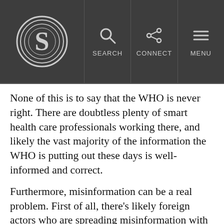S logo | SEARCH | CONNECT | MENU
None of this is to say that the WHO is never right. There are doubtless plenty of smart health care professionals working there, and likely the vast majority of the information the WHO is putting out these days is well-informed and correct.
Furthermore, misinformation can be a real problem. First of all, there’s likely foreign actors who are spreading misinformation with nefarious goals of their own.
Second, misinformation in relation to COVID-19 could lead to serious problems—including a delay in getting treatment, not adhering to best practices, and thus increasing the risk of infection, and even, in severe